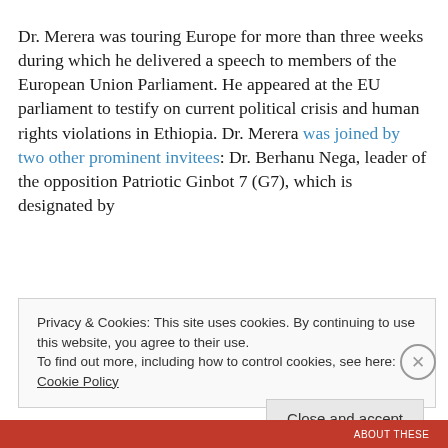Dr. Merera was touring Europe for more than three weeks during which he delivered a speech to members of the European Union Parliament. He appeared at the EU parliament to testify on current political crisis and human rights violations in Ethiopia. Dr. Merera was joined by two other prominent invitees: Dr. Berhanu Nega, leader of the opposition Patriotic Ginbot 7 (G7), which is designated by
Privacy & Cookies: This site uses cookies. By continuing to use this website, you agree to their use.
To find out more, including how to control cookies, see here: Cookie Policy